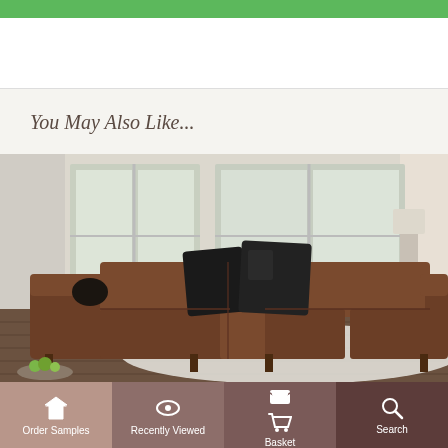[Figure (other): Green header bar at the top of a retail website/app]
You May Also Like...
[Figure (photo): A large brown leather L-shaped sectional sofa with dark throw pillows, photographed in a bright living room with large windows and a white area rug. A bowl of green fruit is visible in the lower left corner.]
Order Samples | Recently Viewed | Basket | Search